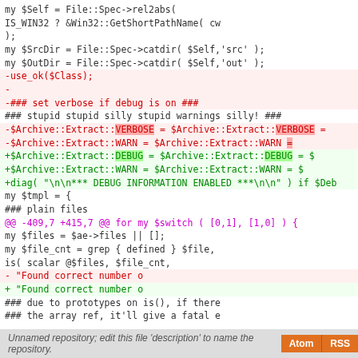Code diff showing Perl source changes including $Self, $SrcDir, $OutDir assignments, use_ok, Archive::Extract verbose/warn/debug settings, diag call, $tmpl block, and file count test.
Unnamed repository; edit this file 'description' to name the repository.